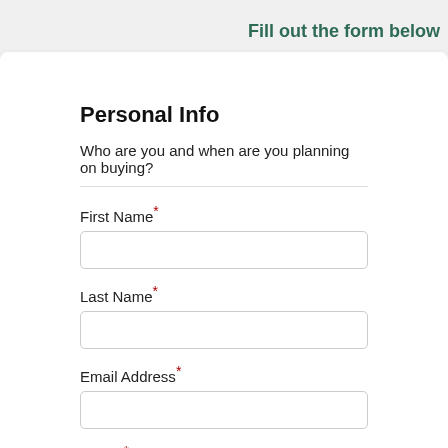Fill out the form below
Personal Info
Who are you and when are you planning on buying?
First Name*
Last Name*
Email Address*
Phone*